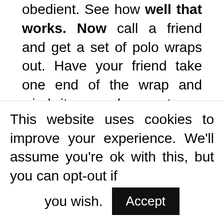obedient. See how well that works. Now call a friend and get a set of polo wraps out. Have your friend take one end of the wrap and wind it around your torso, starting about mid-chest and going down to just above your wrists, so you are able to move your hands a bit but not use your arms at all. Then go back out to the horse. In other words, discipline yourself. Do less, go slow, be polite.
Step Five: You may ask him to move up from his hind, but no pulling on the lead. Not once. Sing it out, "All we are saying ... is give peace a chance". If you still need to pull on his face,
This website uses cookies to improve your experience. We'll assume you're ok with this, but you can opt-out if you wish. Accept